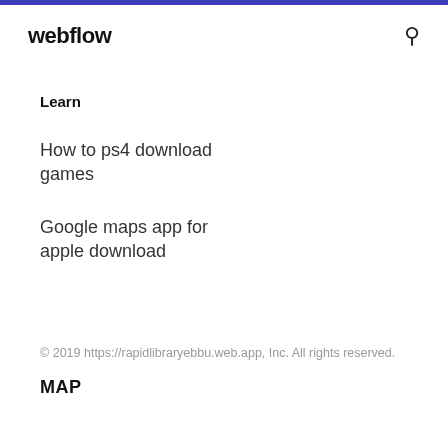webflow
Learn
How to ps4 download games
Google maps app for apple download
© 2019 https://rapidlibraryebbu.web.app, Inc. All rights reserved.
MAP